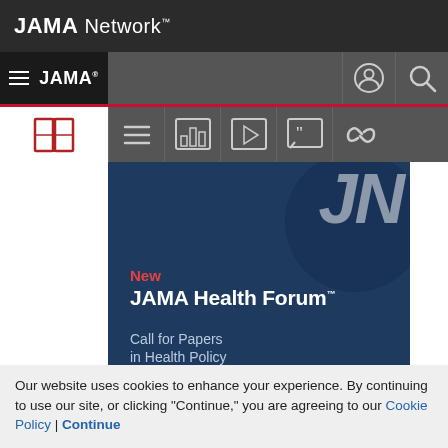JAMA Network
[Figure (screenshot): JAMA Network website navigation bar with JAMA logo, hamburger menu, toolbar icons (book, menu, bar chart, video, quote, link), and JAMA Health Forum banner with 'New' label, 'JAMA Health Forum' title, and 'Call for Papers in Health Policy' subtitle]
Our website uses cookies to enhance your experience. By continuing to use our site, or clicking "Continue," you are agreeing to our Cookie Policy | Continue